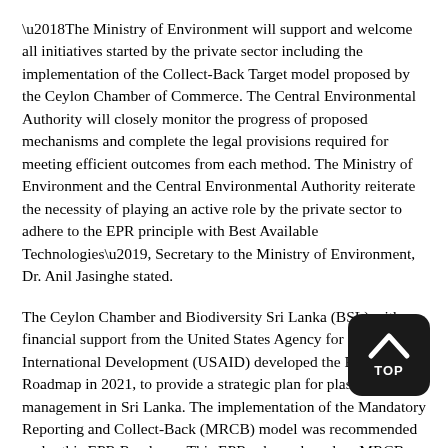‘The Ministry of Environment will support and welcome all initiatives started by the private sector including the implementation of the Collect-Back Target model proposed by the Ceylon Chamber of Commerce. The Central Environmental Authority will closely monitor the progress of proposed mechanisms and complete the legal provisions required for meeting efficient outcomes from each method. The Ministry of Environment and the Central Environmental Authority reiterate the necessity of playing an active role by the private sector to adhere to the EPR principle with Best Available Technologies’, Secretary to the Ministry of Environment, Dr. Anil Jasinghe stated.
The Ceylon Chamber and Biodiversity Sri Lanka (BSL) with financial support from the United States Agency for International Development (USAID) developed the EPR Roadmap in 2021, to provide a strategic plan for plastic waste management in Sri Lanka. The implementation of the Mandatory Reporting and Collect-Back (MRCB) model was recommended under this EPR Roadmap. This EPR scheme based on MRCB model was developed under the guidance of a Project Steering Committee comprising of key Government Agencies including; Ministry of Environment, Central Environmental Authority (CEA), Marine Environment Protection Authority (MEPA), Coast Conservation & Coastal Resource Management Department (CC&CRMD), Western Province Waste Management Authority (WPWMA), State Ministry of Provincial